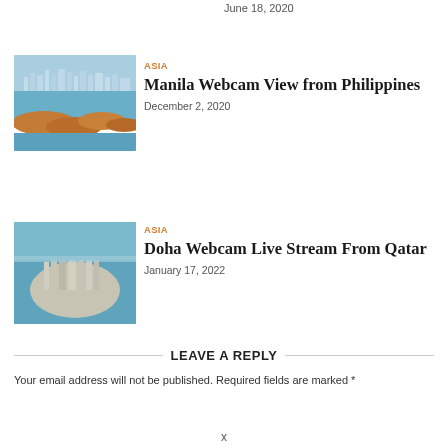June 18, 2020
[Figure (photo): Aerial view of Manila Bay with a rocky breakwater curving into the blue water, city skyline in the background]
ASIA
Manila Webcam View from Philippines
December 2, 2020
[Figure (photo): Aerial view of Doha, Qatar peninsula surrounded by blue water with modern skyscrapers]
ASIA
Doha Webcam Live Stream From Qatar
January 17, 2022
LEAVE A REPLY
Your email address will not be published. Required fields are marked *